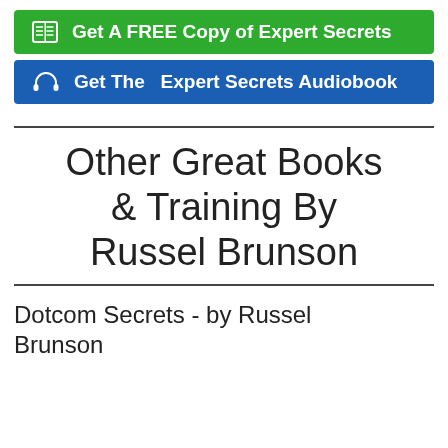Get A FREE Copy of Expert Secrets
Get The  Expert Secrets Audiobook
Other Great Books & Training By Russel Brunson
Dotcom Secrets - by Russel Brunson